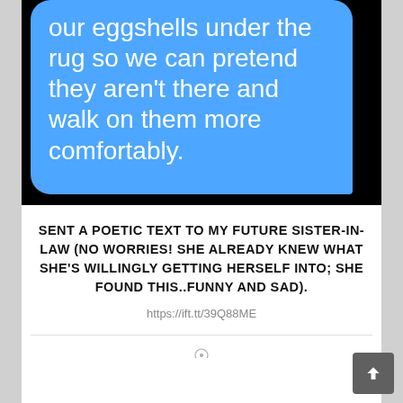[Figure (screenshot): iOS iMessage screenshot showing a blue speech bubble with white text: 'our eggshells under the rug so we can pretend they aren't there and walk on them more comfortably.']
SENT A POETIC TEXT TO MY FUTURE SISTER-IN-LAW (NO WORRIES! SHE ALREADY KNEW WHAT SHE'S WILLINGLY GETTING HERSELF INTO; SHE FOUND THIS..FUNNY AND SAD).
https://ift.tt/39Q88ME